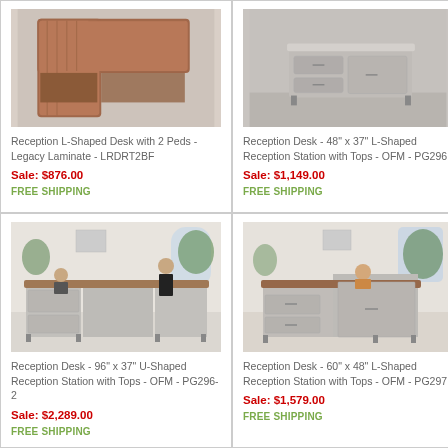[Figure (photo): Reception L-Shaped Desk with wooden top viewed from above]
Reception L-Shaped Desk with 2 Peds - Legacy Laminate - LRDRT2BF
Sale: $876.00
FREE SHIPPING
[Figure (photo): Reception Desk 48x37 L-Shaped silver and grey unit]
Reception Desk - 48" x 37" L-Shaped Reception Station with Tops - OFM - PG296
Sale: $1,149.00
FREE SHIPPING
[Figure (photo): Reception Desk 96x37 U-Shaped with two people at desk]
Reception Desk - 96" x 37" U-Shaped Reception Station with Tops - OFM - PG296-2
Sale: $2,289.00
FREE SHIPPING
[Figure (photo): Reception Desk 60x48 L-Shaped with person behind desk]
Reception Desk - 60" x 48" L-Shaped Reception Station with Tops - OFM - PG297
Sale: $1,579.00
FREE SHIPPING